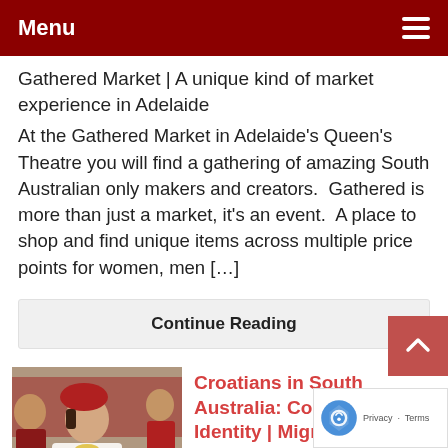Menu
Gathered Market | A unique kind of market experience in Adelaide
At the Gathered Market in Adelaide's Queen's Theatre you will find a gathering of amazing South Australian only makers and creators.  Gathered is more than just a market, it's an event.  A place to shop and find unique items across multiple price points for women, men [...]
Continue Reading
[Figure (photo): A woman in traditional Croatian folk costume, white dress with red and yellow embroidery, with other people in traditional costumes in the background.]
Croatians in South Australia: Community and Identity | Migration Museum | 23 Mar – 31 Aug 2018
March 20, 2018
[ March 23, 2018 to August 30 ...